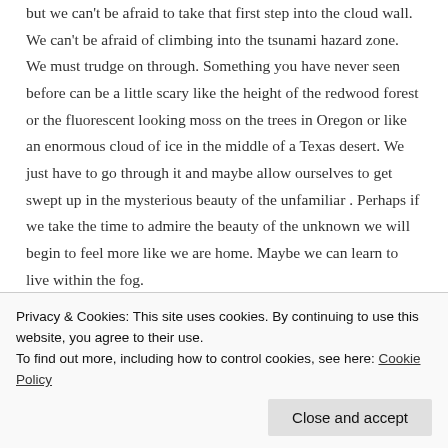but we can't be afraid to take that first step into the cloud wall.  We can't be afraid of climbing into the tsunami hazard zone.  We must trudge on through.  Something you have never seen before can be a little scary like the height of the redwood forest or the fluorescent looking moss on the trees in Oregon or like an enormous cloud of ice in the middle of a Texas desert.  We just have to go through it and maybe allow ourselves to get swept up in the mysterious beauty of the unfamiliar .  Perhaps if we take the time to admire the beauty of the unknown we will begin to feel more like we are home.  Maybe we can learn to live within the fog.
Privacy & Cookies: This site uses cookies. By continuing to use this website, you agree to their use.
To find out more, including how to control cookies, see here: Cookie Policy
Close and accept